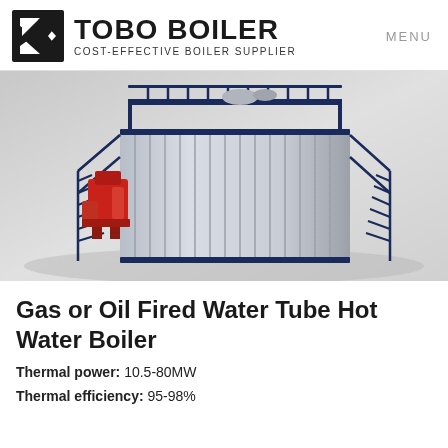TOBO BOILER — COST-EFFECTIVE BOILER SUPPLIER | MENU
[Figure (illustration): 3D rendering of a Gas or Oil Fired Water Tube Hot Water Boiler — large industrial unit with corrugated silver/white cladding, dark navy blue structural frame and staircases on left and right sides, red burner/combustion components on the left front, sitting in a grey industrial hall.]
Gas or Oil Fired Water Tube Hot Water Boiler
Thermal power: 10.5-80MW
Thermal efficiency: 95-98%